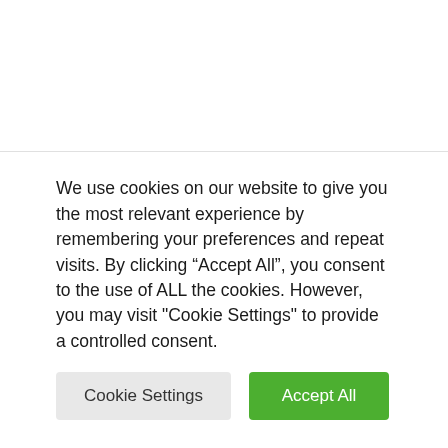Mikaia ANDRIAMAHAZOARIMANANA
The blockchain and crypto revolution is underway! And the day the impact will be
We use cookies on our website to give you the most relevant experience by remembering your preferences and repeat visits. By clicking “Accept All”, you consent to the use of ALL the cookies. However, you may visit "Cookie Settings" to provide a controlled consent.
Cookie Settings
Accept All